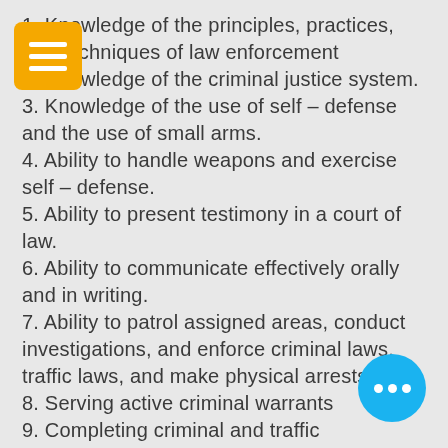1. Knowledge of the principles, practices, and techniques of law enforcement
2. Knowledge of the criminal justice system.
3. Knowledge of the use of self – defense and the use of small arms.
4. Ability to handle weapons and exercise self – defense.
5. Ability to present testimony in a court of law.
6. Ability to communicate effectively orally and in writing.
7. Ability to patrol assigned areas, conduct investigations, and enforce criminal laws, traffic laws, and make physical arrests.
8. Serving active criminal warrants
9. Completing criminal and traffic